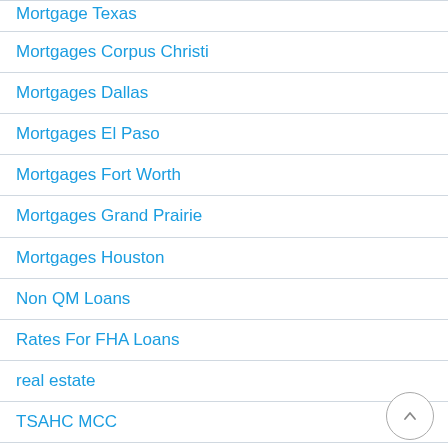Mortgage Texas
Mortgages Corpus Christi
Mortgages Dallas
Mortgages El Paso
Mortgages Fort Worth
Mortgages Grand Prairie
Mortgages Houston
Non QM Loans
Rates For FHA Loans
real estate
TSAHC MCC
USDA Loans